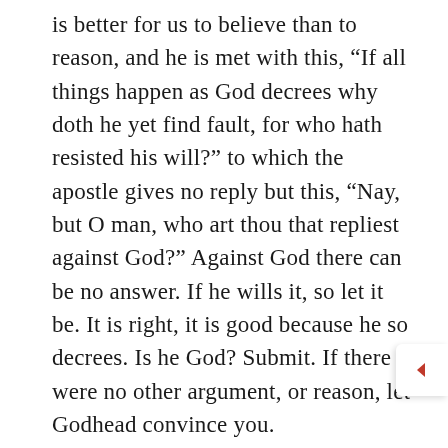is better for us to believe than to reason, and he is met with this, “If all things happen as God decrees why doth he yet find fault, for who hath resisted his will?” to which the apostle gives no reply but this, “Nay, but O man, who art thou that repliest against God?” Against God there can be no answer. If he wills it, so let it be. It is right, it is good because he so decrees. Is he God? Submit. If there were no other argument, or reason, let Godhead convince you.

Good men have been argued with in the